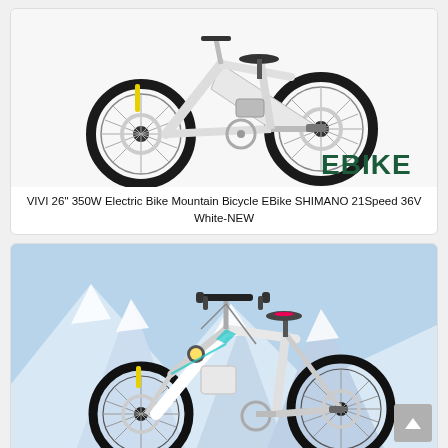[Figure (photo): White electric mountain bike (VIVI 26" 350W) on white background, with EBIKE logo in dark green text, showing front wheel, frame, and drivetrain.]
VIVI 26" 350W Electric Bike Mountain Bicycle EBike SHIMANO 21Speed 36V White-NEW
[Figure (photo): White electric mountain bike photographed outdoors against a snowy mountain backdrop (blue sky), showing full bike profile with battery pack, disc brakes, and yellow fork accents.]